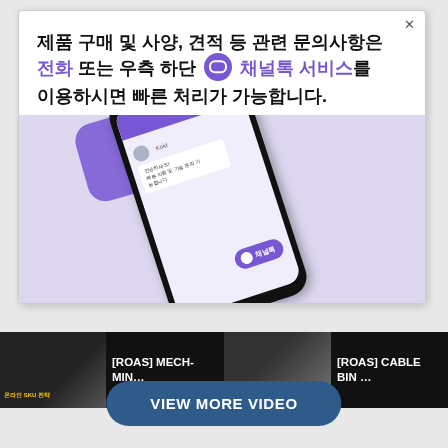제품 구매 및 사양, 견적 등 관련 문의사항은 전화 또는 우측 하단 [채널톡 아이콘] 채널톡 서비스를 이용하시면 빠른 처리가 가능합니다.
[Figure (illustration): Smartphone showing a chat app with Channel Talk icon, on purple/lavender background]
[Figure (screenshot): Video bar showing two video thumbnails: [ROAS] MECH-MIN… and [ROAS] CABLE BIN …]
VIEW MORE VIDEO